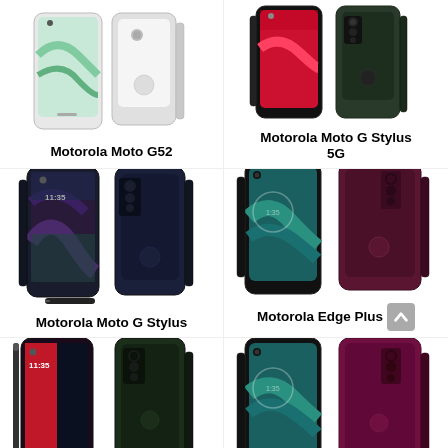[Figure (photo): Motorola Moto G52 smartphone shown from front and back angles, white/silver color]
Motorola Moto G52
[Figure (photo): Motorola Moto G Stylus 5G smartphone shown from front and back angles, dark green color]
Motorola Moto G Stylus 5G
[Figure (photo): Motorola Moto G Stylus smartphone shown from front and back angles, dark blue/black color with stylus]
Motorola Moto G Stylus
[Figure (photo): Motorola Edge Plus smartphone shown from front and back angles, dark red/burgundy color]
Motorola Edge Plus
[Figure (photo): Motorola smartphone (bottom left, partially visible) shown from front and back angles, dark green color with stylus]
[Figure (photo): Motorola Edge smartphone (bottom right, partially visible) shown from front and back angles, dark red/burgundy color]